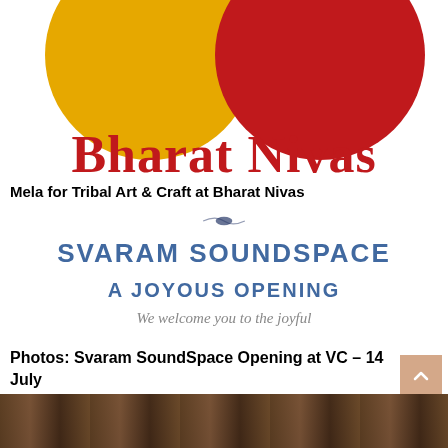[Figure (logo): Two large circles (yellow and dark red) forming the Bharat Nivas logo, with 'Bharat Nivas' text in red serif font below]
Mela for Tribal Art & Craft at Bharat Nivas
[Figure (logo): Svaram SoundSpace logo with ornamental divider, 'SVARAM SOUNDSPACE' in bold blue, 'A JOYOUS OPENING' below, and 'We welcome you to the joyful' in grey italic]
Photos: Svaram SoundSpace Opening at VC – 14 July
[Figure (photo): Partial bottom strip showing a dark brown/warm-toned photograph]